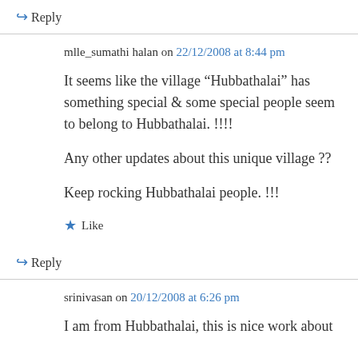↪ Reply
mlle_sumathi halan on 22/12/2008 at 8:44 pm
It seems like the village “Hubbathalai” has something special & some special people seem to belong to Hubbathalai. !!!!
Any other updates about this unique village ??
Keep rocking Hubbathalai people. !!!
★ Like
↪ Reply
srinivasan on 20/12/2008 at 6:26 pm
I am from Hubbathalai, this is nice work about